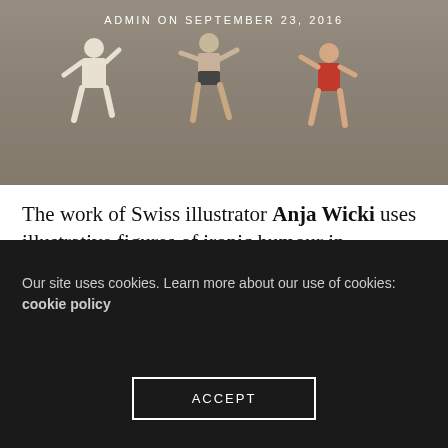[Figure (photo): Photo of people jumping, with admin date overlay reading ADMIN ON SEPTEMBER 23, 2016]
ADMIN ON SEPTEMBER 23, 2016
The work of Swiss illustrator Anja Wicki uses illustrative figures of ironic humour in saturated colour combinations, making her work to sarcastically sweet.
Most times, ideacide happens without us even realizing it. A possible off-the-wall idea or solution appears like a blip and disappears without us even
Our site uses cookies. Learn more about our use of cookies: cookie policy
ACCEPT